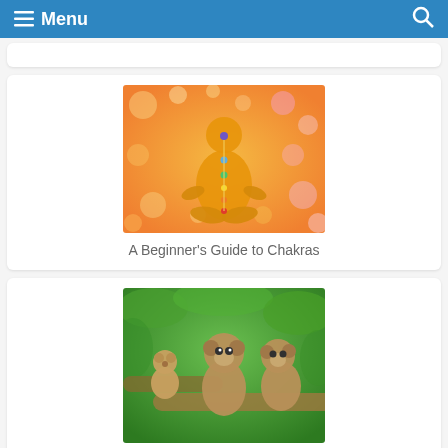Menu
[Figure (illustration): A beginner's guide to chakras - illustration of meditating figure with chakra points on orange bokeh background]
A Beginner's Guide to Chakras
[Figure (photo): Three monkeys sitting on tree branches in a green leafy environment]
Monkey Symbolism: Monkey Spiritual